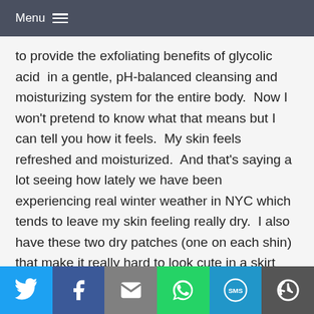Menu
to provide the exfoliating benefits of glycolic acid  in a gentle, pH-balanced cleansing and moisturizing system for the entire body.  Now I won't pretend to know what that means but I can tell you how it feels.  My skin feels refreshed and moisturized.  And that's saying a lot seeing how lately we have been experiencing real winter weather in NYC which tends to leave my skin feeling really dry.  I also have these two dry patches (one on each shin) that make it really hard to look cute in a skirt (not that I've been wanting to wear a skirt recently).  Since using the Mederma AG body
[Figure (infographic): Social share bar with six buttons: Twitter (blue bird icon), Facebook (dark blue f icon), Email (grey envelope icon), WhatsApp (green phone icon), SMS (blue SMS bubble icon), and a share/rotate icon (dark grey).]